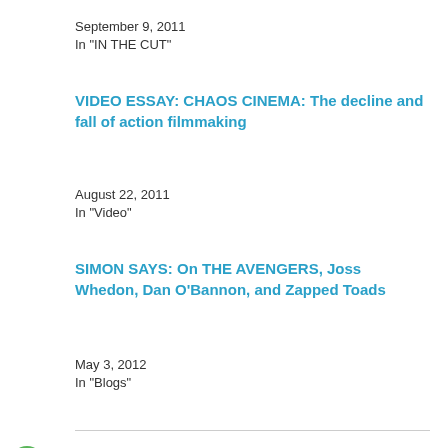September 9, 2011
In "IN THE CUT"
VIDEO ESSAY: CHAOS CINEMA: The decline and fall of action filmmaking
August 22, 2011
In "Video"
SIMON SAYS: On THE AVENGERS, Joss Whedon, Dan O'Bannon, and Zapped Toads
May 3, 2012
In "Blogs"
maxwinter / December 4, 2012 / Video / Monte
Advertisements